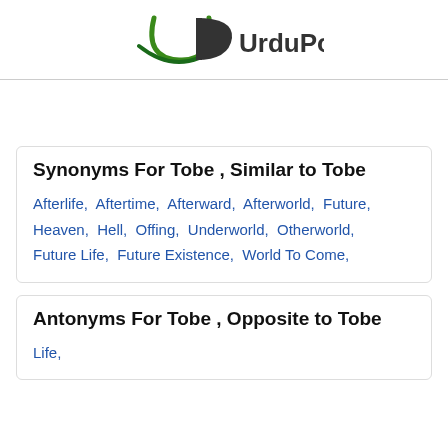UrduPoint
Synonyms For Tobe , Similar to Tobe
Afterlife, Aftertime, Afterward, Afterworld, Future, Heaven, Hell, Offing, Underworld, Otherworld, Future Life, Future Existence, World To Come,
Antonyms For Tobe , Opposite to Tobe
Life,